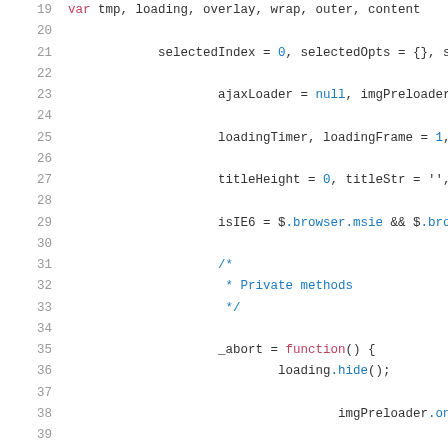[Figure (screenshot): Source code viewer showing JavaScript code lines 19-41 with syntax highlighting. Line numbers in gray on left. Keywords in red/pink, property accesses and numbers in blue, comment text in blue.]